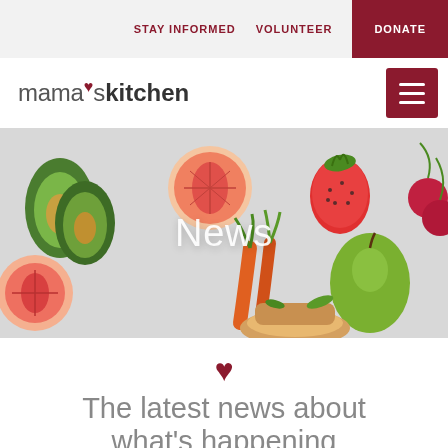STAY INFORMED   VOLUNTEER   DONATE
[Figure (logo): Mama's Kitchen logo with heart above apostrophe]
[Figure (illustration): Hero banner with colorful watercolor fruit and vegetable illustrations (avocado, grapefruit, strawberry, cherries, pear, carrots, meal) on a light gray background with 'News' text overlay]
The latest news about what's happening